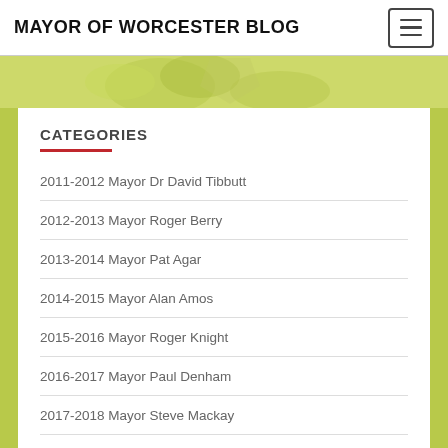MAYOR OF WORCESTER BLOG
[Figure (illustration): Green decorative banner with stylized floral/leaf motifs in background, light yellow-green color scheme]
CATEGORIES
2011-2012 Mayor Dr David Tibbutt
2012-2013 Mayor Roger Berry
2013-2014 Mayor Pat Agar
2014-2015 Mayor Alan Amos
2015-2016 Mayor Roger Knight
2016-2017 Mayor Paul Denham
2017-2018 Mayor Steve Mackay